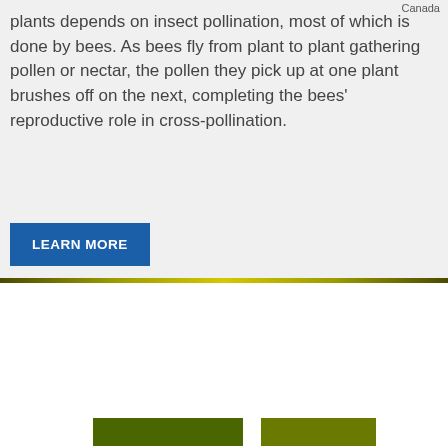Canada
plants depends on insect pollination, most of which is done by bees. As bees fly from plant to plant gathering pollen or nectar, the pollen they pick up at one plant brushes off on the next, completing the bees’ reproductive role in cross-pollination.
LEARN MORE
This website uses cookies. By using our website, you consent to the use of such cookies. To see how we use cookies, or for information on changing your preferences, please review our Privacy Statement.
COOKIES POLICY